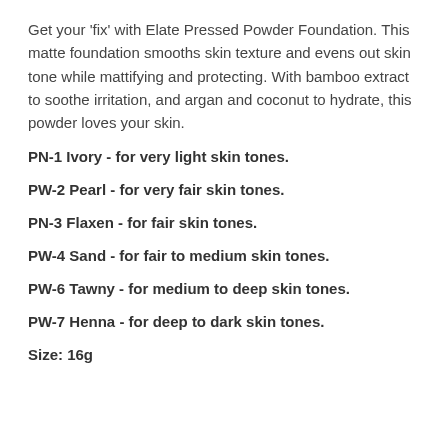Get your 'fix' with Elate Pressed Powder Foundation. This matte foundation smooths skin texture and evens out skin tone while mattifying and protecting. With bamboo extract to soothe irritation, and argan and coconut to hydrate, this powder loves your skin.
PN-1 Ivory - for very light skin tones.
PW-2 Pearl - for very fair skin tones.
PN-3 Flaxen - for fair skin tones.
PW-4 Sand - for fair to medium skin tones.
PW-6 Tawny - for medium to deep skin tones.
PW-7 Henna - for deep to dark skin tones.
Size: 16g